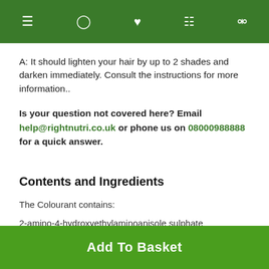Navigation bar with menu, user, heart, basket, and search icons
A: It should lighten your hair by up to 2 shades and darken immediately. Consult the instructions for more information..
Is your question not covered here? Email help@rightnutri.co.uk or phone us on 08000988888 for a quick answer.
Contents and Ingredients
The Colourant contains:
2-amino-4-hydroxyethylaminoanisole sulphate